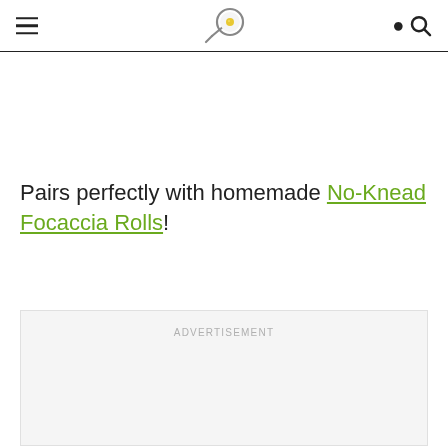[logo: frying pan icon] [hamburger menu] [search icon]
Pairs perfectly with homemade No-Knead Focaccia Rolls!
ADVERTISEMENT